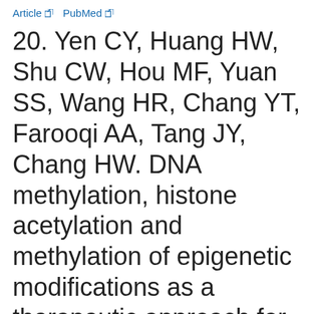Article  PubMed
20. Yen CY, Huang HW, Shu CW, Hou MF, Yuan SS, Wang HR, Chang YT, Farooqi AA, Tang JY, Chang HW. DNA methylation, histone acetylation and methylation of epigenetic modifications as a therapeutic approach for cancers. Cancer Lett 2016;373: 185-192 https://doi.org/10.1016/j.canlet.2016.01.036